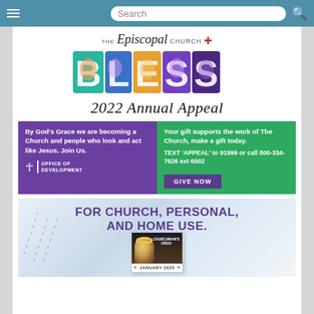Navigation bar with hamburger menu, search bar, and search icon
[Figure (logo): The Episcopal Church logo with cross]
[Figure (illustration): BLESS 2022 Annual Appeal graphic with colorful letter art showing faces inside letters]
By God's Grace we are becoming a Church and people who look and act like Jesus. Join Us.
Your gift supports the work of The Church, make a gift today. TEXT 'APPEAL' to 91999 or call 800-334-7626 ext 6002
GIVE NOW
[Figure (infographic): FOR CHURCH, PERSONAL, AND HOME USE. Banner with Churchman's Ordo calendar showing JANUARY 2023]